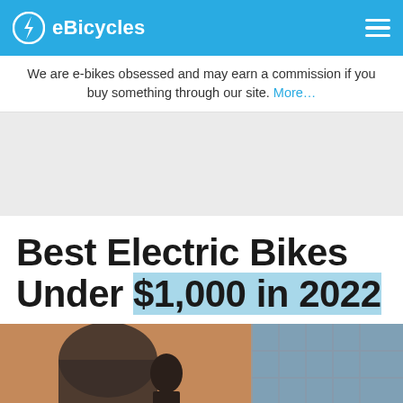eBicycles
We are e-bikes obsessed and may earn a commission if you buy something through our site. More…
[Figure (other): Gray advertisement placeholder rectangle]
Best Electric Bikes Under $1,000 in 2022
[Figure (photo): A person riding an electric bike in front of a brick building with arched windows on the left side and glass panel windows on the right side]